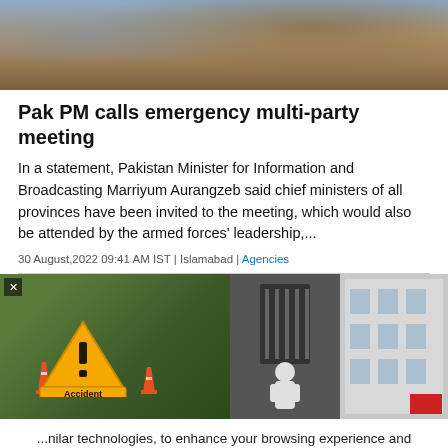[Figure (photo): Flood/muddy water scene from above, rocky terrain]
Pak PM calls emergency multi-party meeting
In a statement, Pakistan Minister for Information and Broadcasting Marriyum Aurangzeb said chief ministers of all provinces have been invited to the meeting, which would also be attended by the armed forces' leadership,...
30 August,2022 09:41 AM IST | Islamabad | Agencies
[Figure (photo): Three news article thumbnail images: accident sign on road, person in PPE gear, building exterior]
...nilar technologies, to enhance your browsing experience and provide personalised recommendations. By continuing to use our website, you agree to our Privacy Policy and Cookie Policy.